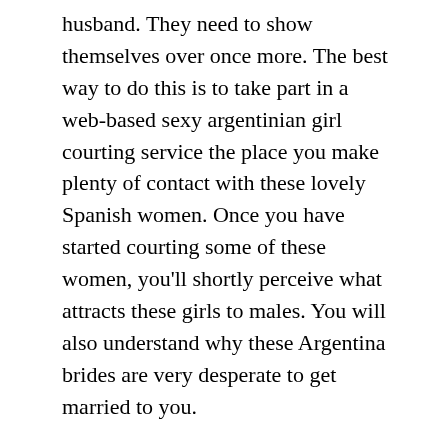husband. They need to show themselves over once more. The best way to do this is to take part in a web-based sexy argentinian girl courting service the place you make plenty of contact with these lovely Spanish women. Once you have started courting some of these women, you'll shortly perceive what attracts these girls to males. You will also understand why these Argentina brides are very desperate to get married to you.
Beautiful Girl Sofia Zamolo. So, these ladies are uninhibited and well mannered on the similar time. It is vitally easy and convenient to speak with such a person. Stunning Argentinian Mannequin hot argentinian women Nicole Neumann. Silvina Luna Hottest Argentine Model. Ring the modifications in your relationships. Argentina girls like selection of their lives. So, be resourceful and at all times make up new ideas.